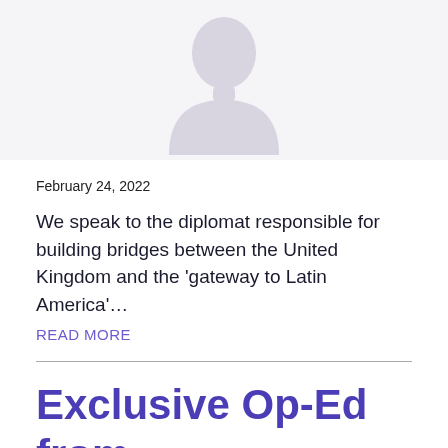[Figure (illustration): Placeholder avatar silhouette of a person, grey tones, on a light grey-purple background]
February 24, 2022
We speak to the diplomat responsible for building bridges between the United Kingdom and the 'gateway to Latin America'…
READ MORE
Exclusive Op-Ed from